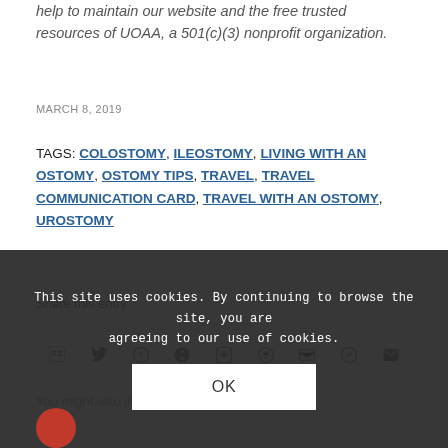help to maintain our website and the free trusted resources of UOAA, a 501(c)(3) nonprofit organization.
MARCH 8, 2019
TAGS: COLOSTOMY, ILEOSTOMY, LIVING WITH AN OSTOMY, OSTOMY TIPS, TRAVEL, TRAVEL COMMUNICATION CARD, TRAVEL WITH AN OSTOMY, UROSTOMY
Share this entry
[Figure (other): Row of social sharing icons: Facebook, Twitter, WhatsApp, Pinterest, LinkedIn, Tumblr, VK, Reddit, Email]
You might also like
This site uses cookies. By continuing to browse the site, you are agreeing to our use of cookies.
OK